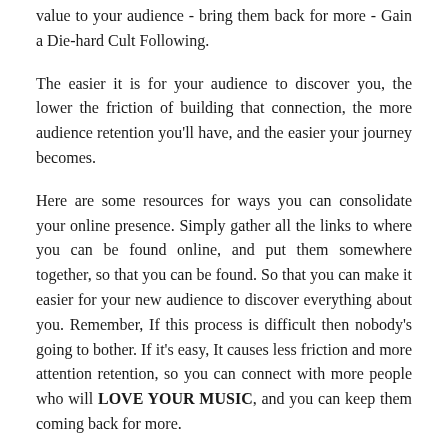value to your audience - bring them back for more - Gain a Die-hard Cult Following.
The easier it is for your audience to discover you, the lower the friction of building that connection, the more audience retention you'll have, and the easier your journey becomes.
Here are some resources for ways you can consolidate your online presence. Simply gather all the links to where you can be found online, and put them somewhere together, so that you can be found. So that you can make it easier for your new audience to discover everything about you. Remember, If this process is difficult then nobody's going to bother. If it's easy, It causes less friction and more attention retention, so you can connect with more people who will LOVE YOUR MUSIC, and you can keep them coming back for more.